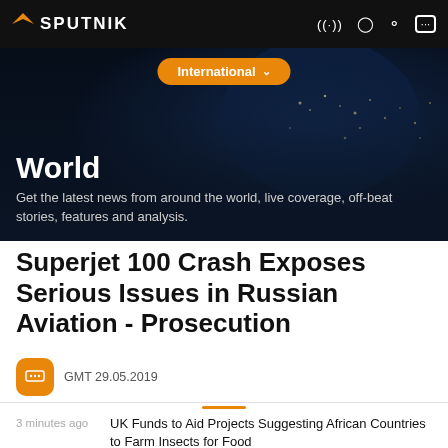[Figure (screenshot): Sputnik news website header with logo, navigation icons, and International dropdown button over a dark world map background with World section banner]
World
Get the latest news from around the world, live coverage, off-beat stories, features and analysis.
Superjet 100 Crash Exposes Serious Issues in Russian Aviation - Prosecution
GMT 29.05.2019
UK Funds to Aid Projects Suggesting African Countries to Farm Insects for Food
3 minutes ago